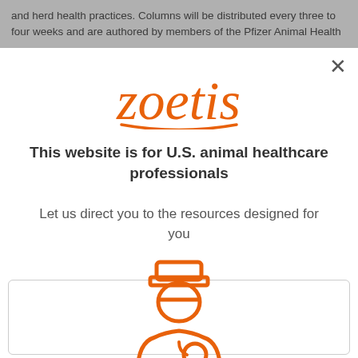and herd health practices. Columns will be distributed every three to four weeks and are authored by members of the Pfizer Animal Health
[Figure (logo): Zoetis logo in orange cursive font]
This website is for U.S. animal healthcare professionals
Let us direct you to the resources designed for you
[Figure (illustration): Orange outline icon of a veterinarian/doctor figure with stethoscope, inside a card with rounded border]